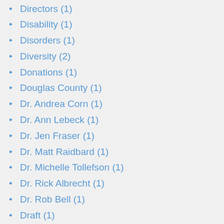Directors (1)
Disability (1)
Disorders (1)
Diversity (2)
Donations (1)
Douglas County (1)
Dr. Andrea Corn (1)
Dr. Ann Lebeck (1)
Dr. Jen Fraser (1)
Dr. Matt Raidbard (1)
Dr. Michelle Tollefson (1)
Dr. Rick Albrecht (1)
Dr. Rob Bell (1)
Draft (1)
Drills (3)
Due diligence (1)
Ed Saiz (1)
Education (2)
Embezzlement (1)
Emergency (1)
Emergency Plans (1)
Emmy Martinez (1)
Equipment (1)